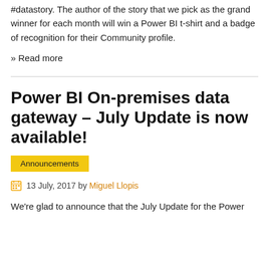#datastory. The author of the story that we pick as the grand winner for each month will win a Power BI t-shirt and a badge of recognition for their Community profile.
» Read more
Power BI On-premises data gateway – July Update is now available!
Announcements
13 July, 2017 by Miguel Llopis
We're glad to announce that the July Update for the Power